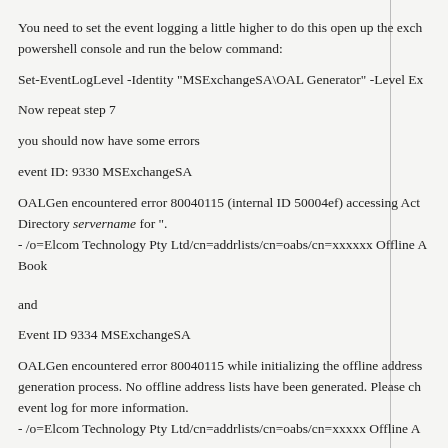You need to set the event logging a little higher to do this open up the exchange powershell console and run the below command:
Set-EventLogLevel -Identity "MSExchangeSA\OAL Generator" -Level Ex
Now repeat step 7
you should now have some errors
event ID: 9330 MSExchangeSA
OALGen encountered error 80040115 (internal ID 50004ef) accessing Active Directory servername for ". - /o=Elcom Technology Pty Ltd/cn=addrlists/cn=oabs/cn=xxxxxx Offline Address Book
and
Event ID 9334 MSExchangeSA
OALGen encountered error 80040115 while initializing the offline address generation process. No offline address lists have been generated. Please check event log for more information. - /o=Elcom Technology Pty Ltd/cn=addrlists/cn=oabs/cn=xxxxx Offline A